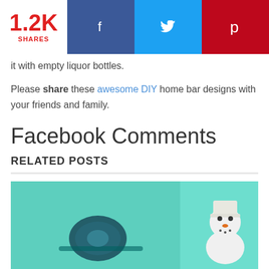[Figure (infographic): Social share bar showing 1.2K shares with Facebook, Twitter, and Pinterest buttons]
it with empty liquor bottles.
Please share these awesome DIY home bar designs with your friends and family.
Facebook Comments
RELATED POSTS
[Figure (photo): Two related post thumbnail images on teal/mint background: left shows a camera/watch item, right shows a snowman figure]